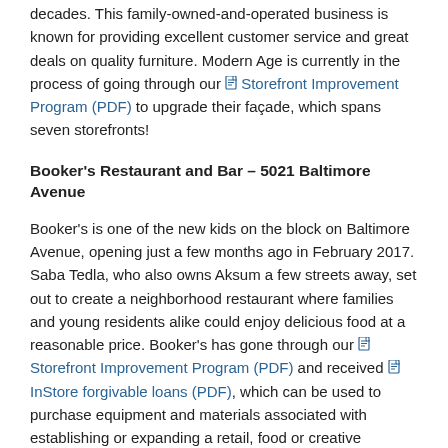decades. This family-owned-and-operated business is known for providing excellent customer service and great deals on quality furniture. Modern Age is currently in the process of going through our Storefront Improvement Program (PDF) to upgrade their façade, which spans seven storefronts!
Booker's Restaurant and Bar – 5021 Baltimore Avenue
Booker's is one of the new kids on the block on Baltimore Avenue, opening just a few months ago in February 2017. Saba Tedla, who also owns Aksum a few streets away, set out to create a neighborhood restaurant where families and young residents alike could enjoy delicious food at a reasonable price. Booker's has gone through our Storefront Improvement Program (PDF) and received InStore forgivable loans (PDF), which can be used to purchase equipment and materials associated with establishing or expanding a retail, food or creative business.